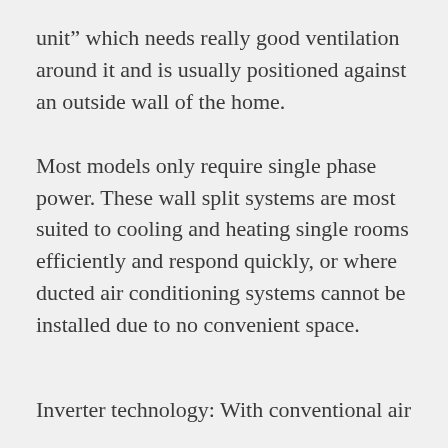unit” which needs really good ventilation around it and is usually positioned against an outside wall of the home.
Most models only require single phase power. These wall split systems are most suited to cooling and heating single rooms efficiently and respond quickly, or where ducted air conditioning systems cannot be installed due to no convenient space.
Inverter technology: With conventional air